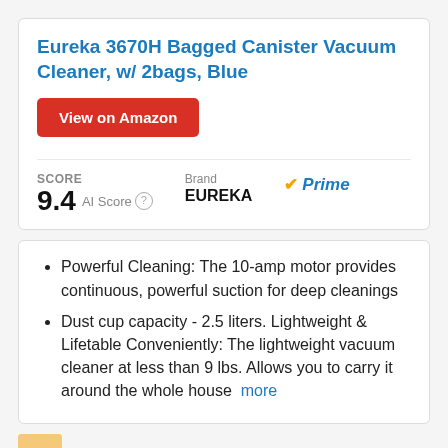Eureka 3670H Bagged Canister Vacuum Cleaner, w/ 2bags, Blue
View on Amazon
SCORE 9.4 AI Score  Brand EUREKA  Prime
Powerful Cleaning: The 10-amp motor provides continuous, powerful suction for deep cleanings
Dust cup capacity - 2.5 liters. Lightweight & Lifetable Conveniently: The lightweight vacuum cleaner at less than 9 lbs. Allows you to carry it around the whole house  more
4